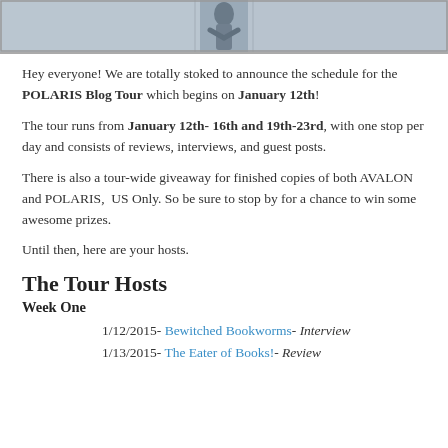[Figure (photo): Banner image showing snowy/wintry scene with a figure, partially cropped at top]
Hey everyone! We are totally stoked to announce the schedule for the POLARIS Blog Tour which begins on January 12th!
The tour runs from January 12th- 16th and 19th-23rd, with one stop per day and consists of reviews, interviews, and guest posts.
There is also a tour-wide giveaway for finished copies of both AVALON and POLARIS, US Only. So be sure to stop by for a chance to win some awesome prizes.
Until then, here are your hosts.
The Tour Hosts
Week One
1/12/2015- Bewitched Bookworms- Interview
1/13/2015- The Eater of Books!- Review